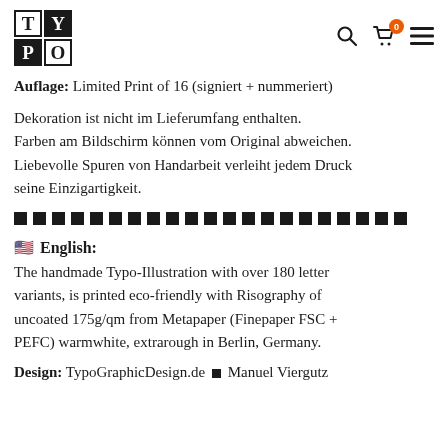TYPO logo with search, cart (0), and menu icons
Auflage: Limited Print of 16 (signiert + nummeriert)
Dekoration ist nicht im Lieferumfang enthalten. Farben am Bildschirm können vom Original abweichen. Liebevolle Spuren von Handarbeit verleiht jedem Druck seine Einzigartigkeit.
🇺🇸 English:
The handmade Typo-Illustration with over 180 letter variants, is printed eco-friendly with Risography of uncoated 175g/qm from Metapaper (Finepaper FSC + PEFC) warmwhite, extrarough in Berlin, Germany.
Design: TypoGraphicDesign.de ■ Manuel Viergutz